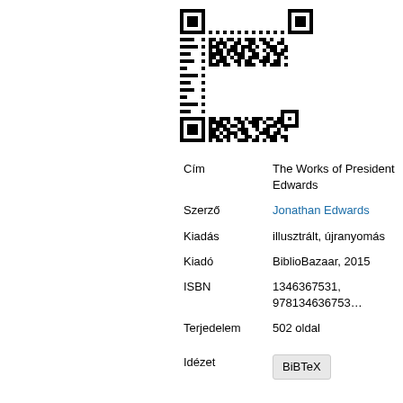[Figure (other): QR code for the book page]
| Field | Value |
| --- | --- |
| Cím | The Works of President Edwards |
| Szerző | Jonathan Edwards |
| Kiadás | illusztrált, újranyomás |
| Kiadó | BiblioBazaar, 2015 |
| ISBN | 1346367531, 9781346367531 |
| Terjedelem | 502 oldal |
| Idézet | BiBTeX |